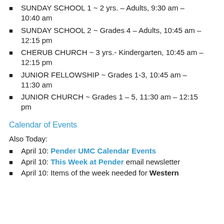SUNDAY SCHOOL 1 ~ 2 yrs. – Adults, 9:30 am – 10:40 am
SUNDAY SCHOOL 2 ~ Grades 4 – Adults, 10:45 am – 12:15 pm
CHERUB CHURCH ~ 3 yrs.- Kindergarten, 10:45 am – 12:15 pm
JUNIOR FELLOWSHIP ~ Grades 1-3, 10:45 am – 11:30 am
JUNIOR CHURCH ~ Grades 1 – 5, 11:30 am – 12:15 pm
Calendar of Events
Also Today:
April 10: Pender UMC Calendar Events
April 10: This Week at Pender email newsletter
April 10: Items of the week needed for Western